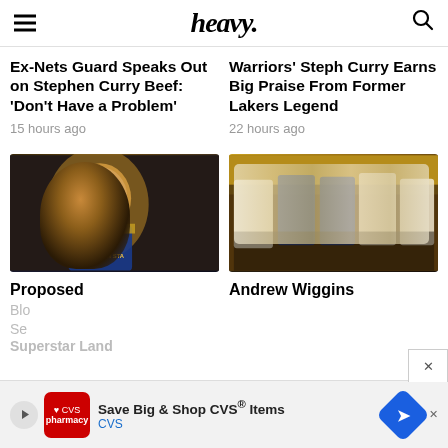heavy.
Ex-Nets Guard Speaks Out on Stephen Curry Beef: ‘Don’t Have a Problem’
15 hours ago
Warriors’ Steph Curry Earns Big Praise From Former Lakers Legend
22 hours ago
[Figure (photo): Kevin Durant in Golden State Warriors blue jersey looking upward]
[Figure (photo): Golden State Warriors players sitting on bench in white jerseys]
Proposed
Andrew Wiggins
Blo
Se
Superstar Land
[Figure (screenshot): CVS advertisement banner: Save Big & Shop CVS Items]